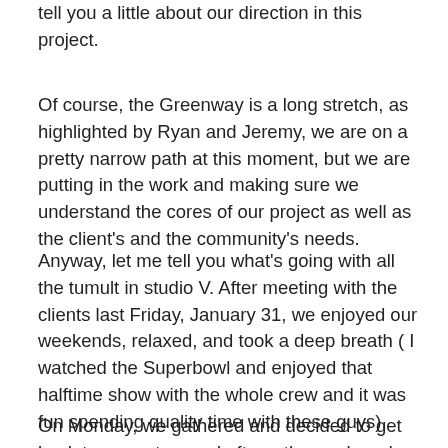tell you a little about our direction in this project.
Of course, the Greenway is a long stretch, as highlighted by Ryan and Jeremy, we are on a pretty narrow path at this moment, but we are putting in the work and making sure we understand the cores of our project as well as the client's and the community's needs.
Anyway, let me tell you what's going with all the tumult in studio V. After meeting with the clients last Friday, January 31, we enjoyed our weekends, relaxed, and took a deep breath ( I watched the Superbowl and enjoyed that halftime show with the whole crew and it was fun spending quality time with these guys).
On Monday, we gathered and decided to get back to our notes, and after a thorough and informative discussion